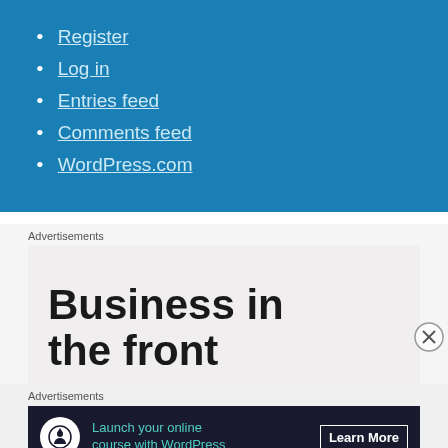Register
Log in
Entries feed
Comments feed
WordPress.com
Advertisements
[Figure (infographic): Advertisement banner showing 'Business in the front' text on a light beige background]
[Figure (other): Close/dismiss button (circled X) on right side]
Advertisements
[Figure (infographic): Dark banner ad: Launch your online course with WordPress. Learn More button. WordPress logo icon on left.]